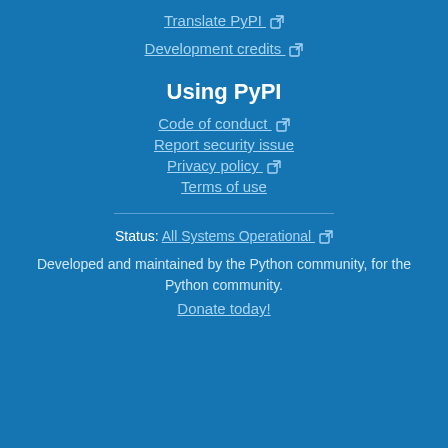Translate PyPI ↗
Development credits ↗
Using PyPI
Code of conduct ↗
Report security issue
Privacy policy ↗
Terms of use
Status: All Systems Operational ↗
Developed and maintained by the Python community, for the Python community.
Donate today!